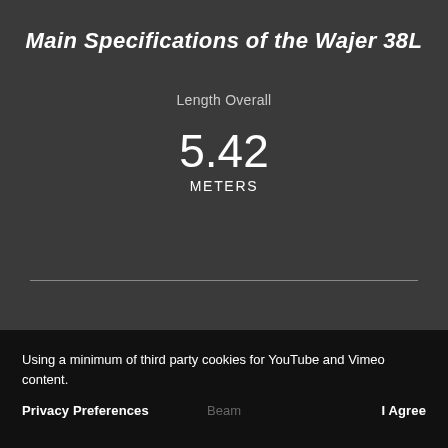Main Specifications of the Wajer 38L
Length Overall
5.42
METERS
Using a minimum of third party cookies for YouTube and Vimeo content.
Privacy Preferences
Beam
I Agree